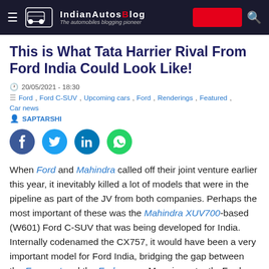IndianAutosBlog — The automobiles blogging pioneer
This is What Tata Harrier Rival From Ford India Could Look Like!
20/05/2021 - 18:30
Ford, Ford C-SUV, Upcoming cars, Ford, Renderings, Featured, Car news
SAPTARSHI
[Figure (other): Social share buttons: Facebook, Twitter, LinkedIn, WhatsApp]
When Ford and Mahindra called off their joint venture earlier this year, it inevitably killed a lot of models that were in the pipeline as part of the JV from both companies. Perhaps the most important of these was the Mahindra XUV700-based (W601) Ford C-SUV that was being developed for India. Internally codenamed the CX757, it would have been a very important model for Ford India, bridging the gap between the Ecosport and the Endeavour. More importantly, Ford was quite far into the development of this C-SUV, even having